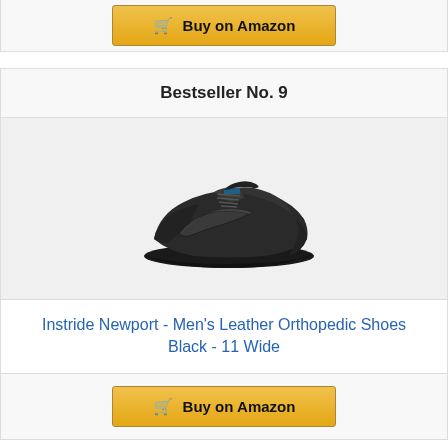Buy on Amazon
Bestseller No. 9
[Figure (photo): Black leather orthopedic shoe (Instride Newport) viewed from the side, showing laces, curved sole, and athletic styling]
Instride Newport - Men's Leather Orthopedic Shoes Black - 11 Wide
Buy on Amazon